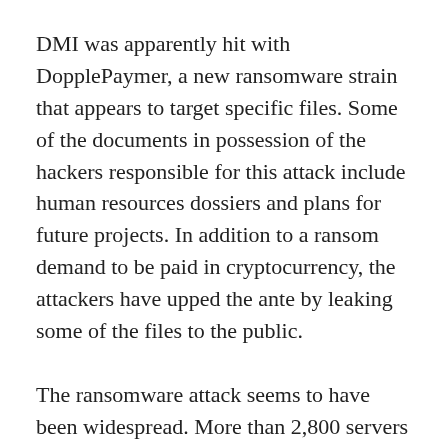DMI was apparently hit with DopplePaymer, a new ransomware strain that appears to target specific files. Some of the documents in possession of the hackers responsible for this attack include human resources dossiers and plans for future projects. In addition to a ransom demand to be paid in cryptocurrency, the attackers have upped the ante by leaking some of the files to the public.
The ransomware attack seems to have been widespread. More than 2,800 servers managed by DMI were compromised. As with similar attacks, files were encrypted with various layers of cryptography, and the attackers are offering to unlock these files in exchange for ransom payments; otherwise, more blackmail will take place in the form of documents leaked to the public or sold in digital black markets.